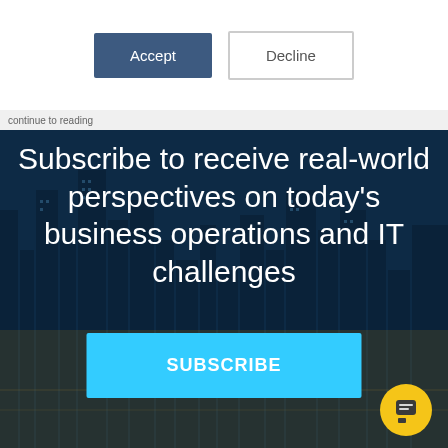[Figure (screenshot): Cookie consent bar with Accept and Decline buttons on white background]
Subscribe to receive real-world perspectives on today's business operations and IT challenges
SUBSCRIBE